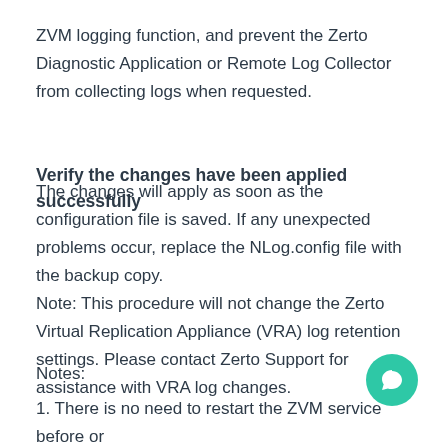ZVM logging function, and prevent the Zerto Diagnostic Application or Remote Log Collector from collecting logs when requested.
Verify the changes have been applied successfully
The changes will apply as soon as the configuration file is saved. If any unexpected problems occur, replace the NLog.config file with the backup copy.
Note: This procedure will not change the Zerto Virtual Replication Appliance (VRA) log retention settings. Please contact Zerto Support for assistance with VRA log changes.
Notes:
1. There is no need to restart the ZVM service before or